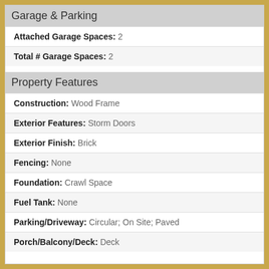Garage & Parking
Attached Garage Spaces: 2
Total # Garage Spaces: 2
Property Features
Construction: Wood Frame
Exterior Features: Storm Doors
Exterior Finish: Brick
Fencing: None
Foundation: Crawl Space
Fuel Tank: None
Parking/Driveway: Circular; On Site; Paved
Porch/Balcony/Deck: Deck